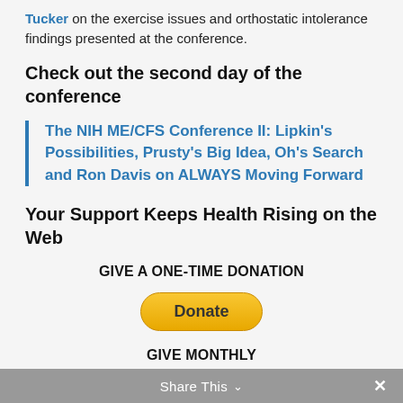Tucker on the exercise issues and orthostatic intolerance findings presented at the conference.
Check out the second day of the conference
The NIH ME/CFS Conference II: Lipkin's Possibilities, Prusty's Big Idea, Oh's Search and Ron Davis on ALWAYS Moving Forward
Your Support Keeps Health Rising on the Web
GIVE A ONE-TIME DONATION
[Figure (other): Yellow rounded Donate button]
GIVE MONTHLY
Share This ∨  ×